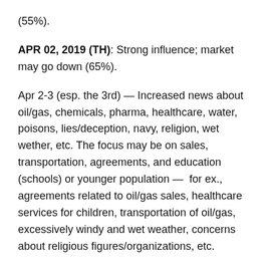(55%).
APR 02, 2019 (TH): Strong influence; market may go down (65%).
Apr 2-3 (esp. the 3rd) — Increased news about oil/gas, chemicals, pharma, healthcare, water, poisons, lies/deception, navy, religion, wet wether, etc. The focus may be on sales, transportation, agreements, and education (schools) or younger population —  for ex., agreements related to oil/gas sales, healthcare services for children, transportation of oil/gas, excessively windy and wet weather, concerns about religious figures/organizations, etc.
USA: Likely, stressful news about leaders, real estate, banks, savings, food availability, farming, homeland